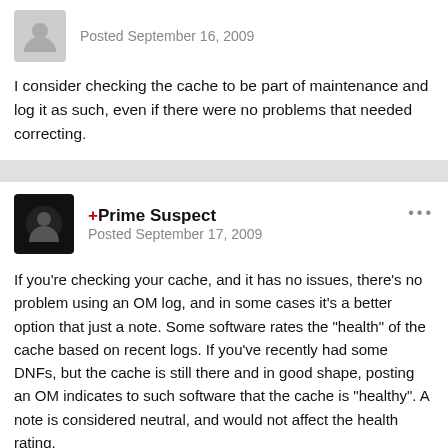Posted September 16, 2009
I consider checking the cache to be part of maintenance and log it as such, even if there were no problems that needed correcting.
+Prime Suspect
Posted September 17, 2009
If you're checking your cache, and it has no issues, there's no problem using an OM log, and in some cases it's a better option that just a note. Some software rates the "health" of the cache based on recent logs. If you've recently had some DNFs, but the cache is still there and in good shape, posting an OM indicates to such software that the cache is "healthy". A note is considered neutral, and would not affect the health rating.
However, if there IS a problem with the cache, please don't post an Owner Maintenance unless you've actually performed maintenance.
And under no circumstances should an OM log used to say that you